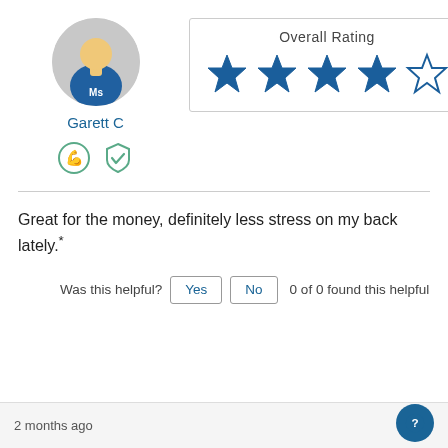[Figure (illustration): Circular avatar of a person wearing a blue jersey with 'Ms' text, with a gray background]
Garett C
[Figure (illustration): Two badge icons: a circular badge with a snake/gym symbol and a shield badge with a checkmark, both in green/teal]
[Figure (other): Overall Rating box showing 4 out of 5 stars (4 filled blue stars, 1 empty star outline)]
Great for the money, definitely less stress on my back lately.*
Was this helpful? Yes No 0 of 0 found this helpful
2 months ago